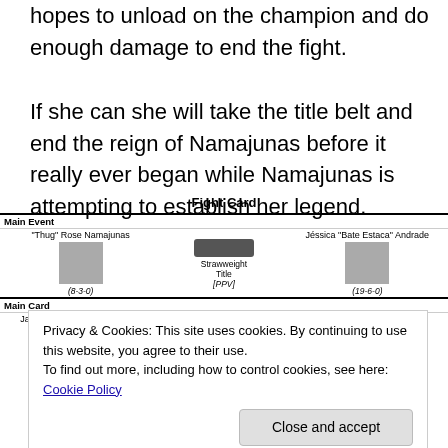hopes to unload on the champion and do enough damage to end the fight.
If she can she will take the title belt and end the reign of Namajunas before it really ever began while Namajunas is attempting to establish her legend.
| Fighter | Title/Division | Fighter |
| --- | --- | --- |
| Main Event |  |  |
| "Thug" Rose Namajunas | Strawweight Title [PPV] | Jéssica "Bate Estaca" Andrade |
| (8-3-0) |  | (19-6-0) |
| Main Card |  |  |
| Jared "Killa Gorilla" Cannonier |  | Anderson "The Spider" Silva |
Privacy & Cookies: This site uses cookies. By continuing to use this website, you agree to their use.
To find out more, including how to control cookies, see here: Cookie Policy
Close and accept